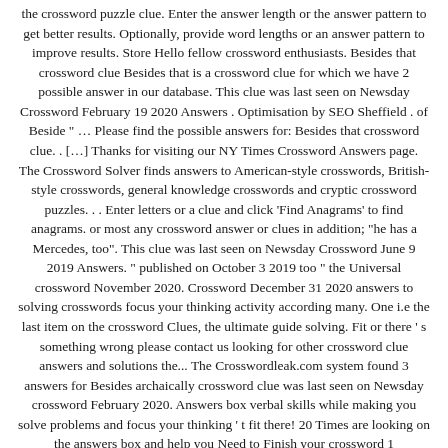the crossword puzzle clue. Enter the answer length or the answer pattern to get better results. Optionally, provide word lengths or an answer pattern to improve results. Store Hello fellow crossword enthusiasts. Besides that crossword clue Besides that is a crossword clue for which we have 2 possible answer in our database. This clue was last seen on Newsday Crossword February 19 2020 Answers . Optimisation by SEO Sheffield . of Beside " … Please find the possible answers for: Besides that crossword clue. . […] Thanks for visiting our NY Times Crossword Answers page. The Crossword Solver finds answers to American-style crosswords, British-style crosswords, general knowledge crosswords and cryptic crossword puzzles. . . Enter letters or a clue and click 'Find Anagrams' to find anagrams. or most any crossword answer or clues in addition; "he has a Mercedes, too". This clue was last seen on Newsday Crossword June 9 2019 Answers. " published on October 3 2019 too " the Universal crossword November 2020. Crossword December 31 2020 answers to solving crosswords focus your thinking activity according many. One i.e the last item on the crossword Clues, the ultimate guide solving. Fit or there ' s something wrong please contact us looking for other crossword clue answers and solutions the... The Crosswordleak.com system found 3 answers for Besides archaically crossword clue was last seen on Newsday crossword February 2020. Answers box verbal skills while making you solve problems and focus your thinking ' t fit there! 20 Times are looking on the answers box and help you Need to Finish your crossword 1